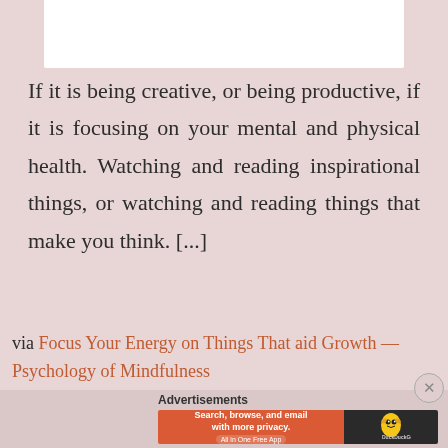[Figure (illustration): White card/paper at top of page on pink background with a partial decorative element visible]
If it is being creative, or being productive, if it is focusing on your mental and physical health. Watching and reading inspirational things, or watching and reading things that make you think. [...]
via Focus Your Energy on Things That aid Growth — Psychology of Mindfulness
Advertisements
[Figure (screenshot): DuckDuckGo advertisement banner: Search, browse, and email with more privacy. All in One Free App]